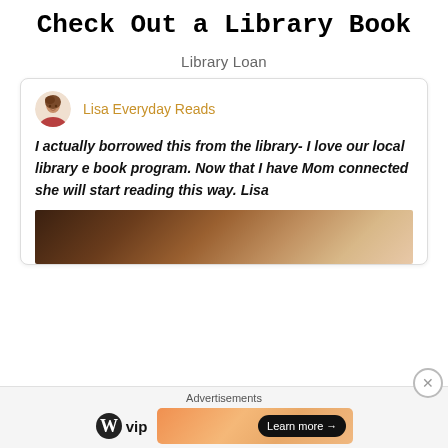Check Out a Library Book
Library Loan
Lisa Everyday Reads
I actually borrowed this from the library- I love our local library e book program. Now that I have Mom connected she will start reading this way. Lisa
[Figure (photo): Partial view of a book cover or person, dark brown and warm tones]
Advertisements — WordPress VIP — Learn more →